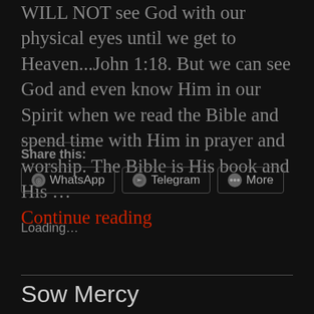WILL NOT see God with our physical eyes until we get to Heaven...John 1:18. But we can see God and even know Him in our Spirit when we read the Bible and spend time with Him in prayer and worship. The Bible is His book and His ... Continue reading
Share this:
WhatsApp   Telegram   More
Loading...
Sow Mercy